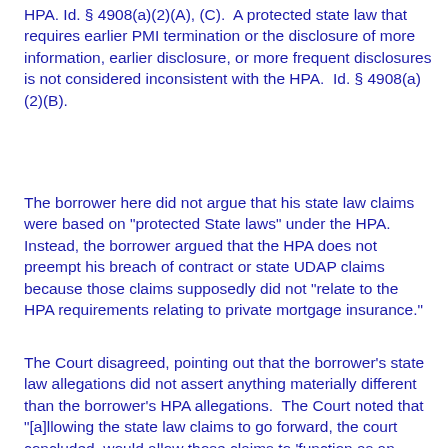HPA. Id. § 4908(a)(2)(A), (C).  A protected state law that requires earlier PMI termination or the disclosure of more information, earlier disclosure, or more frequent disclosures is not considered inconsistent with the HPA.  Id. § 4908(a)(2)(B).
The borrower here did not argue that his state law claims were based on "protected State laws" under the HPA.  Instead, the borrower argued that the HPA does not preempt his breach of contract or state UDAP claims because those claims supposedly did not "relate to the HPA requirements relating to private mortgage insurance."
The Court disagreed, pointing out that the borrower's state law allegations did not assert anything materially different than the borrower's HPA allegations.  The Court noted that "[a]llowing the state law claims to go forward, the court concluded, would allow those claims to 'function as an alternative form of monetary relief arising the...